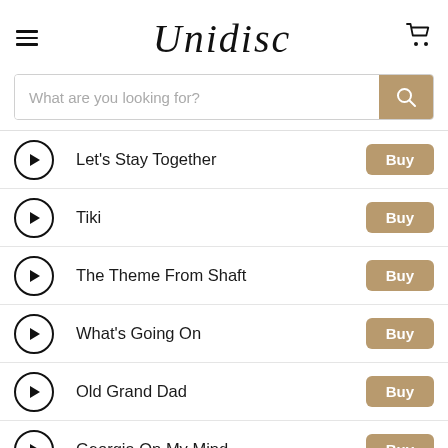Unidisc
What are you looking for?
Let's Stay Together
Tiki
The Theme From Shaft
What's Going On
Old Grand Dad
Georgia On My Mind
April in Paris